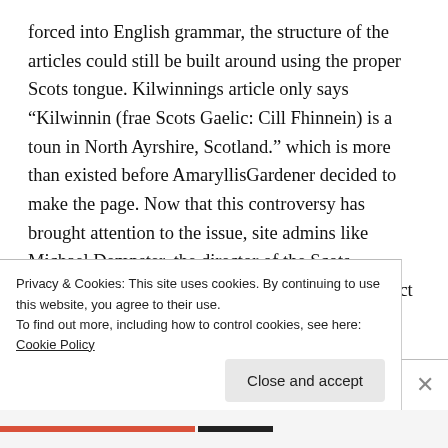forced into English grammar, the structure of the articles could still be built around using the proper Scots tongue. Kilwinnings article only says “Kilwinnin (frae Scots Gaelic: Cill Fhinnein) is a toun in North Ayrshire, Scotland.” which is more than existed before AmaryllisGardener decided to make the page. Now that this controversy has brought attention to the issue, site admins like Michael Dempster, the director of the Scots Language Centre, have set out to amend and correct the articles, and have even
Privacy & Cookies: This site uses cookies. By continuing to use this website, you agree to their use.
To find out more, including how to control cookies, see here: Cookie Policy
Close and accept